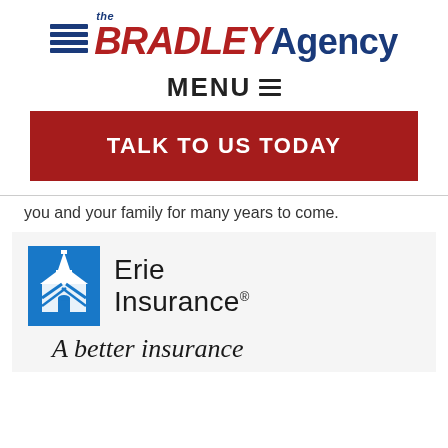[Figure (logo): The Bradley Agency logo with horizontal blue lines on the left and 'BRADLEY' in red italic bold and 'Agency' in dark blue bold, with 'the' in small italic above]
MENU ☰
TALK TO US TODAY
you and your family for many years to come.
[Figure (logo): Erie Insurance logo with blue building/house icon on the left and 'Erie Insurance' text with registered trademark symbol]
A better insurance